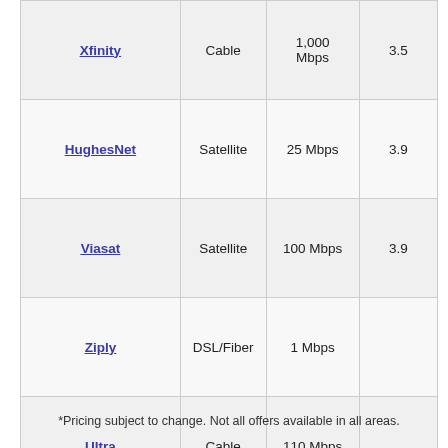| Xfinity | Cable | 1,000 Mbps | 3.5 |
| HughesNet | Satellite | 25 Mbps | 3.9 |
| Viasat | Satellite | 100 Mbps | 3.9 |
| Ziply | DSL/Fiber | 1 Mbps |  |
| Ultra | Cable | 110 Mbps |  |
*Pricing subject to change. Not all offers available in all areas.